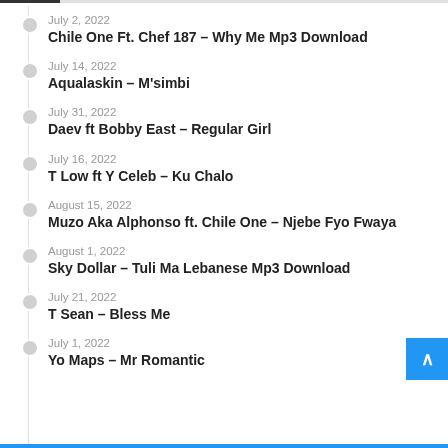July 2, 2022
Chile One Ft. Chef 187 – Why Me Mp3 Download
July 14, 2022
Aqualaskin – M'simbi
July 31, 2022
Daev ft Bobby East – Regular Girl
July 16, 2022
T Low ft Y Celeb – Ku Chalo
August 15, 2022
Muzo Aka Alphonso ft. Chile One – Njebe Fyo Fwaya
August 1, 2022
Sky Dollar – Tuli Ma Lebanese Mp3 Download
July 21, 2022
T Sean – Bless Me
July 1, 2022
Yo Maps – Mr Romantic